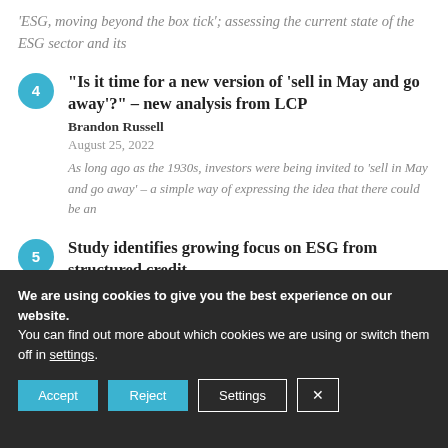'ESG, moving beyond the box tick'; assessing the current state of the ESG sector and its
"Is it time for a new version of 'sell in May and go away'?" – new analysis from LCP
Brandon Russell
August 25, 2022
As long ago as the 1930s, investors were being invited to 'sell in May and go away' – a simple way of expressing the idea that there could be an
Study identifies growing focus on ESG from structured credit
Rebecca Torres
We are using cookies to give you the best experience on our website.
You can find out more about which cookies we are using or switch them off in settings.